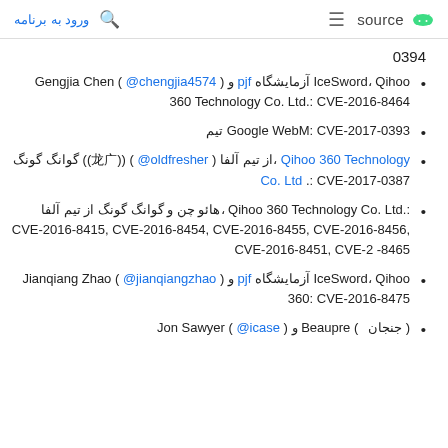ورود به برنامه | source
0394
Gengjia Chen ( @chengjia4574 ) و pjf آزمایشگاه IceSword، Qihoo 360 Technology Co. Ltd.: CVE-2016-8464
تیم Google WebM: CVE-2017-0393
گوانگ گونگ (龚广) ( @oldfresher ) از تیم آلفا، Qihoo 360 Technology Co. Ltd .: CVE-2017-0387
هائو چن و گوانگ گونگ از تیم آلفا، Qihoo 360 Technology Co. Ltd.: CVE-2016-8415, CVE-2016-8454, CVE-2016-8455, CVE-2016-8456, CVE-2016-8451, CVE-2 -8465
Jianqiang Zhao ( @jianqiangzhao ) و pjf آزمایشگاه IceSword، Qihoo 360: CVE-2016-8475
Jon Sawyer ( @icase ) و Beaupre